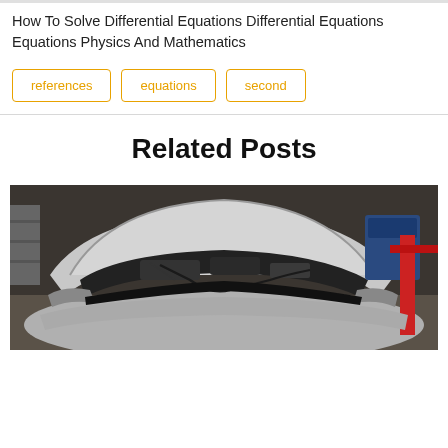How To Solve Differential Equations Differential Equations Equations Physics And Mathematics
references
equations
second
Related Posts
[Figure (photo): A silver car with hood open in a garage/workshop, showing the engine bay with wires and equipment visible. A red lift and shelving with supplies are visible in the background.]